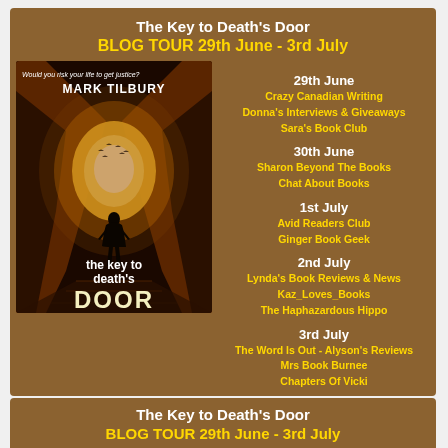The Key to Death's Door
BLOG TOUR 29th June - 3rd July
[Figure (illustration): Book cover for 'The Key to Death's Door' by Mark Tilbury, showing a silhouette of a person standing at the end of a dark tunnel with light at the exit]
29th June
Crazy Canadian Writing
Donna's Interviews & Giveaways
Sara's Book Club
30th June
Sharon Beyond The Books
Chat About Books
1st July
Avid Readers Club
Ginger Book Geek
2nd July
Lynda's Book Reviews & News
Kaz_Loves_Books
The Haphazardous Hippo
3rd July
The Word Is Out - Alyson's Reviews
Mrs Book Burnee
Chapters Of Vicki
The Key to Death's Door
BLOG TOUR 29th June - 3rd July